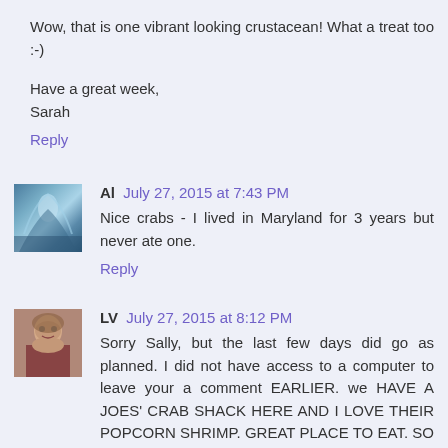Wow, that is one vibrant looking crustacean! What a treat too :-)
Have a great week,
Sarah
Reply
Al  July 27, 2015 at 7:43 PM
Nice crabs - I lived in Maryland for 3 years but never ate one.
Reply
LV  July 27, 2015 at 8:12 PM
Sorry Sally, but the last few days did go as planned. I did not have access to a computer to leave your a comment EARLIER. we HAVE A JOES' CRAB SHACK HERE AND I LOVE THEIR POPCORN SHRIMP. GREAT PLACE TO EAT. SO GLAD YOU FEEL UP TO BEING OUT AND